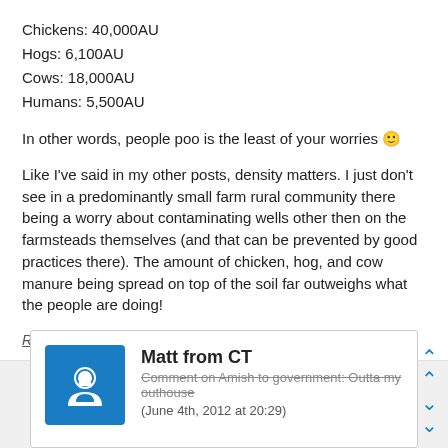Chickens: 40,000AU
Hogs: 6,100AU
Cows: 18,000AU
Humans: 5,500AU

In other words, people poo is the least of your worries 🙂

Like I've said in my other posts, density matters. I just don't see in a predominantly small farm rural community there being a worry about contaminating wells other then on the farmsteads themselves (and that can be prevented by good practices there). The amount of chicken, hog, and cow manure being spread on top of the soil far outweighs what the people are doing!
Reply to Comment
Matt from CT
Comment on Amish to government: Outta my outhouse
(June 4th, 2012 at 20:29)